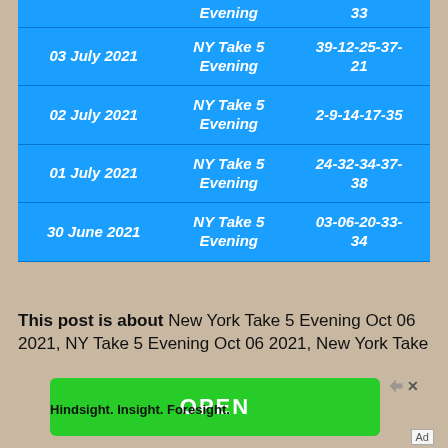| Date | Lottery | Numbers |
| --- | --- | --- |
|  | Evening | 33 |
| 03 July 2021 | NY Take 5 Evening | 39-12-25-37-21 |
| 02 July 2021 | NY Take 5 Evening | 2-9-14-17-35 |
| 01 July 2021 | NY Take 5 Evening | 24-32-34-37-38 |
| 30 June 2021 | NY Take 5 Evening | 03-06-20-33-34 |
This post is about New York Take 5 Evening Oct 06 2021, NY Take 5 Evening Oct 06 2021, New York Take...
[Figure (other): Green OPEN button advertisement banner with Hindsight. Insight. Foresight. tagline]